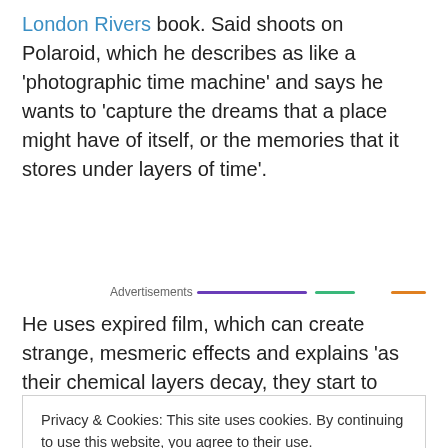London Rivers book. Said shoots on Polaroid, which he describes as like a 'photographic time machine' and says he wants to 'capture the dreams that a place might have of itself, or the memories that it stores under layers of time'.
Advertisements
He uses expired film, which can create strange, mesmeric effects and explains 'as their chemical layers decay, they start to produce strange flame-like swirls and flickering
Privacy & Cookies: This site uses cookies. By continuing to use this website, you agree to their use.
To find out more, including how to control cookies, see here: Cookie Policy
Close and accept
images that you could never get any other way.